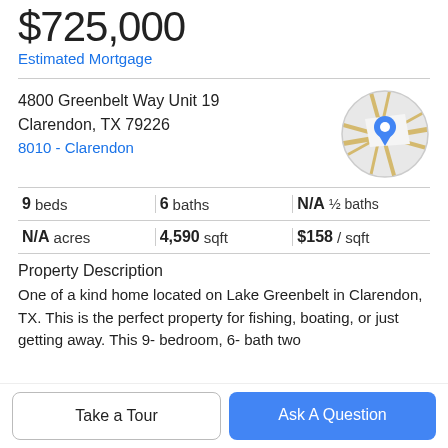$725,000
Estimated Mortgage
4800 Greenbelt Way Unit 19
Clarendon, TX 79226
8010 - Clarendon
[Figure (map): Circular map thumbnail showing street map of Clarendon, TX with a blue location pin marker in center]
| Stat | Value |
| --- | --- |
| 9 beds | 6 baths | N/A ½ baths |
| N/A acres | 4,590 sqft | $158 / sqft |
Property Description
One of a kind home located on Lake Greenbelt in Clarendon, TX. This is the perfect property for fishing, boating, or just getting away. This 9- bedroom, 6- bath two
Take a Tour
Ask A Question